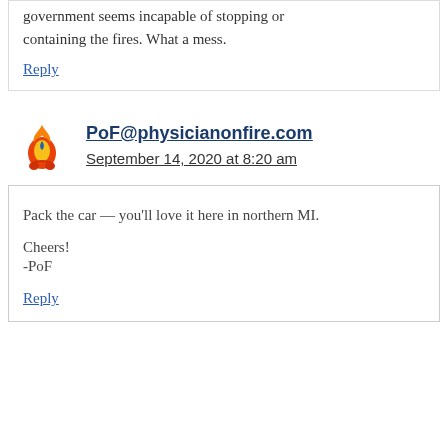government seems incapable of stopping or containing the fires. What a mess.
Reply
PoF@physicianonfire.com
September 14, 2020 at 8:20 am
Pack the car — you'll love it here in northern MI.
Cheers!
-PoF
Reply